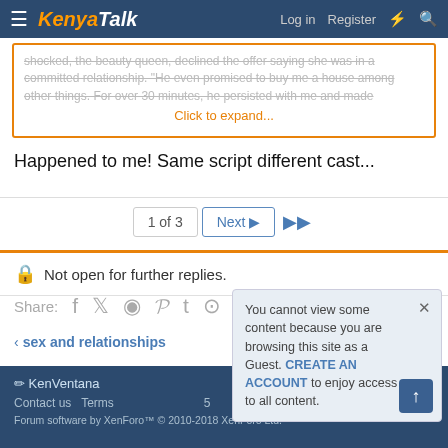KenyaTalk | Log in Register
shocked, the beauty queen, declined the offer saying she was in a committed relationship. "He even promised to buy me a house among other things. For over 30 minutes, he persisted with me and made
Click to expand...
Happened to me! Same script different cast...
1 of 3  Next  >>
Not open for further replies.
Share:
sex and relationships
KenVentana
Contact us  Terms  ...
Forum software by XenForo™ © 2010-2018 XenForo Ltd.
You cannot view some content because you are browsing this site as a Guest. CREATE AN ACCOUNT to enjoy access to all content.